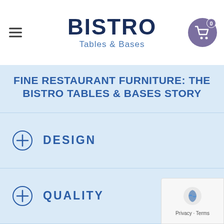BISTRO Tables & Bases
FINE RESTAURANT FURNITURE: THE BISTRO TABLES & BASES STORY
DESIGN
QUALITY
COMFORT